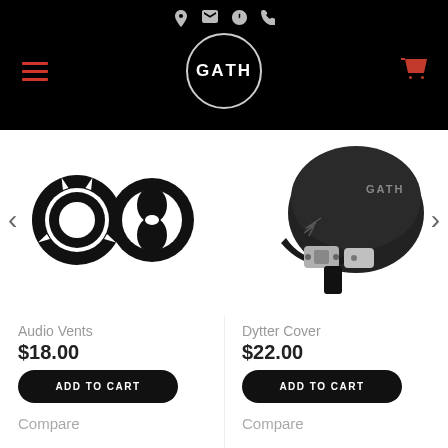[Figure (screenshot): Website header with black background, top icons (location, email, clock, phone), GATH logo in circle, red hamburger menu left, red cart icon right]
[Figure (photo): Two black circular Audio Vent pieces for helmet]
[Figure (photo): Black GATH helmet with chin strap hardware - Dytter Cover product]
Audio Vents
$18.00
ADD TO CART
Compare
Dytter Cover
$22.00
ADD TO CART
Compare